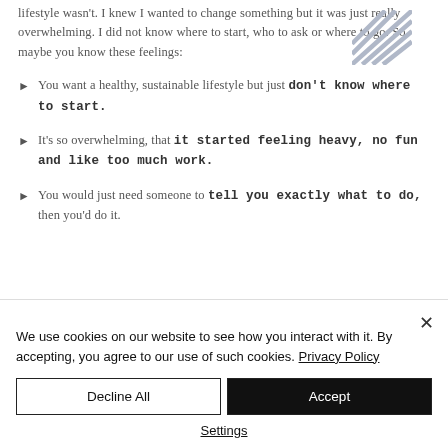lifestyle wasn't. I knew I wanted to change something but it was just really overwhelming. I did not know where to start, who to ask or where to go. So maybe you know these feelings:
You want a healthy, sustainable lifestyle but just don't know where to start.
It's so overwhelming, that it started feeling heavy, no fun and like too much work.
You would just need someone to tell you exactly what to do, then you'd do it.
We use cookies on our website to see how you interact with it. By accepting, you agree to our use of such cookies. Privacy Policy